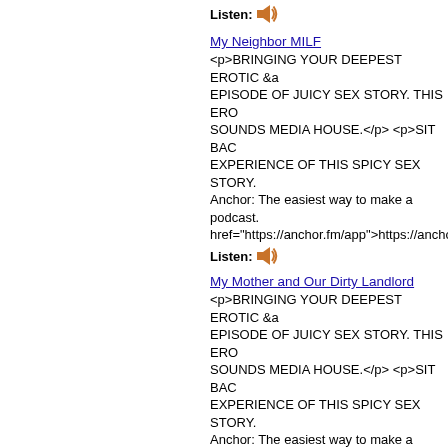Listen: [speaker icon]
My Neighbor MILF
<p>BRINGING YOUR DEEPEST EROTIC &a EPISODE OF JUICY SEX STORY. THIS ERO SOUNDS MEDIA HOUSE.</p> <p>SIT BAC EXPERIENCE OF THIS SPICY SEX STORY. Anchor: The easiest way to make a podcast. href="https://anchor.fm/app">https://anchor.fm
Listen: [speaker icon]
My Mother and Our Dirty Landlord
<p>BRINGING YOUR DEEPEST EROTIC &a EPISODE OF JUICY SEX STORY. THIS ERO SOUNDS MEDIA HOUSE.</p> <p>SIT BAC EXPERIENCE OF THIS SPICY SEX STORY. Anchor: The easiest way to make a podcast. href="https://anchor.fm/app">https://anchor.fm
Listen: [speaker icon]
Obedient Training For a Brat
<p>BRINGING YOUR DEEPEST EROTIC &a EPISODE OF JUICY SEX STORY. THIS ERO SOUNDS MEDIA HOUSE.</p> <p>SIT BAC EXPERIENCE OF THIS SPICY SEX STORY. Anchor: The easiest way to make a podcast. href="https://anchor.fm/app">https://anchor.fm
Listen: [speaker icon]
My Twin StepSister